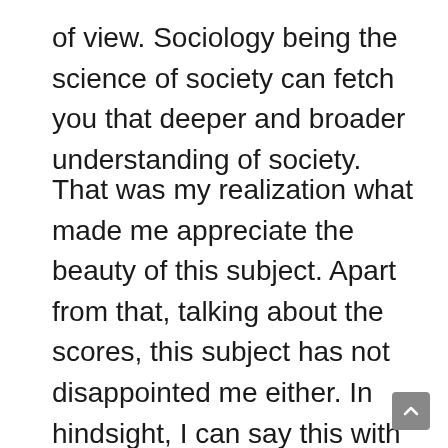of view. Sociology being the science of society can fetch you that deeper and broader understanding of society.
That was my realization what made me appreciate the beauty of this subject. Apart from that, talking about the scores, this subject has not disappointed me either. In hindsight, I can say this with the conviction that selecting Sociology was the decision which made me successful in this exam. The first attempt, with haphazardous preparation and incomplete coverage of syllabus, I could score just below average score (200 in 2014 mains). Come next attempt, I was well prepared and the scores were really surprising. I scored one of the highest in the country (257 in 2015 mains) and the average score in an optional subject that year were around 220. In 2017 mains also, I could score 280.